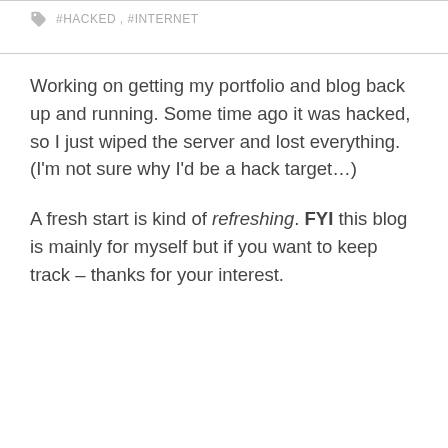#HACKED, #INTERNET
Working on getting my portfolio and blog back up and running. Some time ago it was hacked, so I just wiped the server and lost everything. (I'm not sure why I'd be a hack target…)
A fresh start is kind of refreshing. FYI this blog is mainly for myself but if you want to keep track – thanks for your interest.